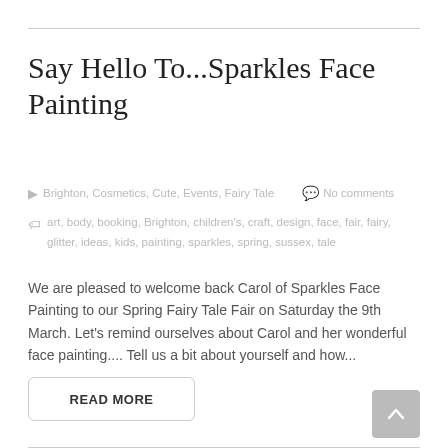Say Hello To...Sparkles Face Painting
Brighton, Cosmetics, Cute, Events, Fairy Tale   No comments
art, body, booking, Brighton, children's, craft, design, face, fair, fairy, glitter, ideas, kids, painting, sparkles, spring, sussex, tale
We are pleased to welcome back Carol of Sparkles Face Painting to our Spring Fairy Tale Fair on Saturday the 9th March. Let's remind ourselves about Carol and her wonderful face painting.... Tell us a bit about yourself and how...
READ MORE